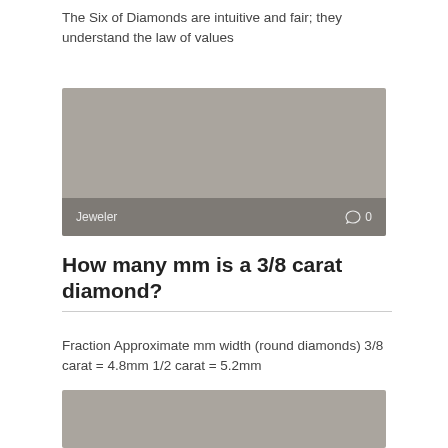The Six of Diamonds are intuitive and fair; they understand the law of values
[Figure (photo): Gray placeholder image with 'Jeweler' label and comment count '0' in bottom bar]
How many mm is a 3/8 carat diamond?
Fraction Approximate mm width (round diamonds) 3/8 carat = 4.8mm 1/2 carat = 5.2mm
[Figure (photo): Gray placeholder image at bottom of page]